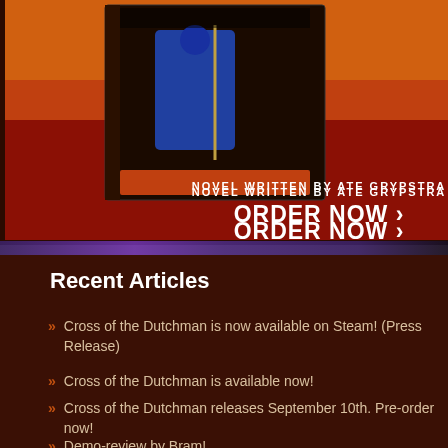[Figure (illustration): Book cover illustration showing a warrior figure in blue against a red fiery background, for the novel Cross of the Dutchman by Ate Grypstra]
NOVEL WRITTEN BY ATE GRYPSTRA
ORDER NOW ›
Recent Articles
Cross of the Dutchman is now available on Steam! (Press Release)
Cross of the Dutchman is available now!
Cross of the Dutchman releases September 10th. Pre-order now!
Demo-review by Bram!